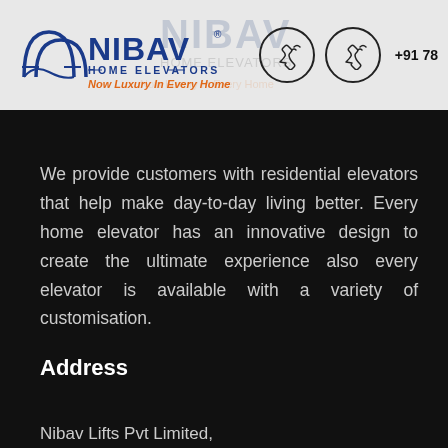[Figure (logo): Nibav Home Elevators logo with phone icons and +91 78 number in header]
We provide customers with residential elevators that help make day-to-day living better. Every home elevator has an innovative design to create the ultimate experience also every elevator is available with a variety of customisation.
Address
Nibav Lifts Pvt Limited,
Nibav Building, Mezzanine floor,